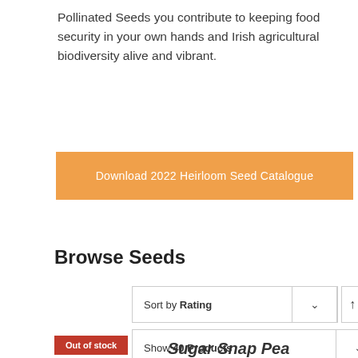Pollinated Seeds you contribute to keeping food security in your own hands and Irish agricultural biodiversity alive and vibrant.
[Figure (other): Orange button: Download 2022 Heirloom Seed Catalogue]
Browse Seeds
[Figure (other): Sort by Rating dropdown with ascending sort button]
[Figure (other): Show 40 Products dropdown]
[Figure (other): Grid and list view toggle buttons]
Out of stock
Sugar Snap Pea